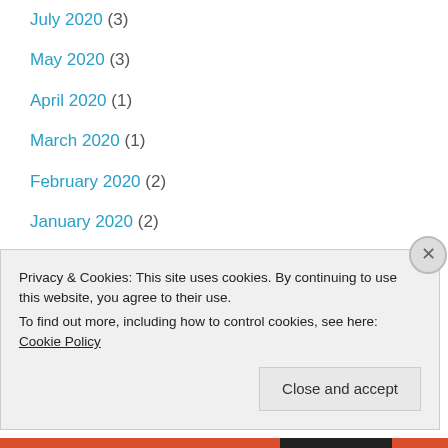July 2020 (3)
May 2020 (3)
April 2020 (1)
March 2020 (1)
February 2020 (2)
January 2020 (2)
December 2019 (3)
November 2019 (3)
October 2019 (1)
September 2019 (5)
Privacy & Cookies: This site uses cookies. By continuing to use this website, you agree to their use.
To find out more, including how to control cookies, see here: Cookie Policy
Close and accept